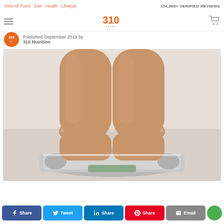View All Posts · Diet · Health · Lifestyle | 154,000+ VERIFIED REVIEWS
10 Health Myths, Debunked!
Published September 2019 by 310 Nutrition
[Figure (photo): Close-up photo of bare feet standing on a glass bathroom scale]
Share | Tweet | Share | Share | Email